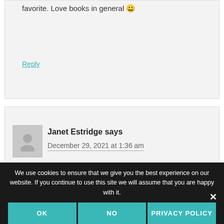favorite. Love books in general 😀
Reply
Janet Estridge says
December 29, 2021 at 1:36 am
We use cookies to ensure that we give you the best experience on our website. If you continue to use this site we will assume that you are happy with it.
OK
NO
PRIVACY POLICY